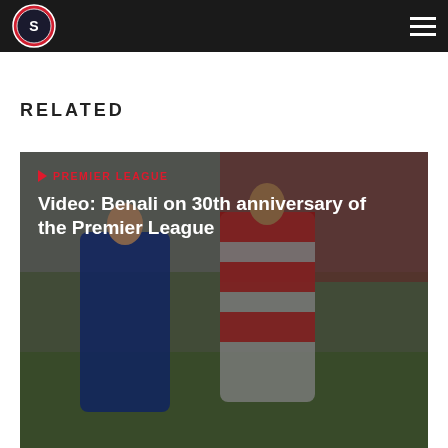Southampton FC navigation header
RELATED
[Figure (photo): Two football players competing for the ball — one in blue kit (Ryan Giggs), one in red and white striped Southampton kit (Francis Benali), with crowd in background. Overlay text shows category tag PREMIER LEAGUE and headline: Video: Benali on 30th anniversary of the Premier League]